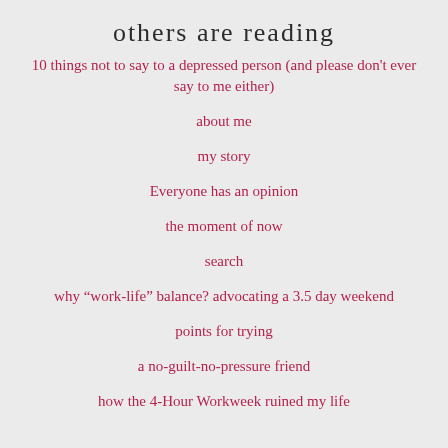others are reading
10 things not to say to a depressed person (and please don’t ever say to me either)
about me
my story
Everyone has an opinion
the moment of now
search
why “work-life” balance? advocating a 3.5 day weekend
points for trying
a no-guilt-no-pressure friend
how the 4-Hour Workweek ruined my life